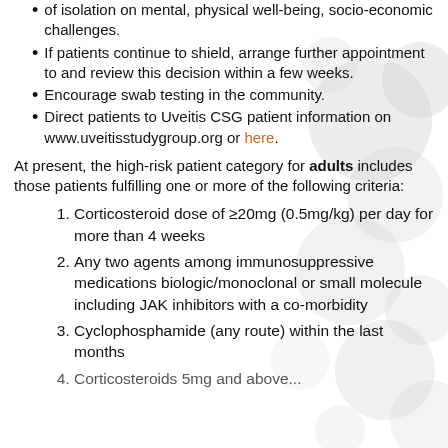of isolation on mental, physical well-being, socio-economic challenges.
If patients continue to shield, arrange further appointment to and review this decision within a few weeks.
Encourage swab testing in the community.
Direct patients to Uveitis CSG patient information on www.uveitisstudygroup.org or here.
At present, the high-risk patient category for adults includes those patients fulfilling one or more of the following criteria:
Corticosteroid dose of ≥20mg (0.5mg/kg) per day for more than 4 weeks
Any two agents among immunosuppressive medications biologic/monoclonal or small molecule including JAK inhibitors with a co-morbidity
Cyclophosphamide (any route) within the last months
Corticosteroids 5mg and above...